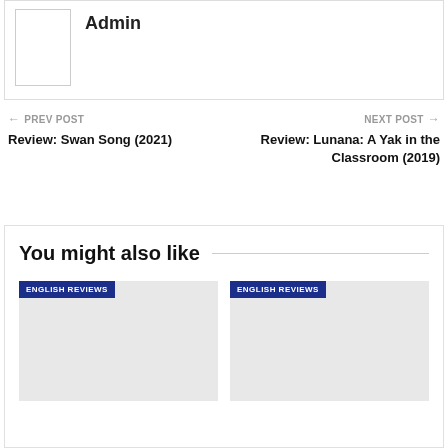[Figure (other): Author avatar placeholder box]
Admin
← PREV POST
Review: Swan Song (2021)
NEXT POST →
Review: Lunana: A Yak in the Classroom (2019)
You might also like
[Figure (other): Card image placeholder with ENGLISH REVIEWS badge]
[Figure (other): Card image placeholder with ENGLISH REVIEWS badge]